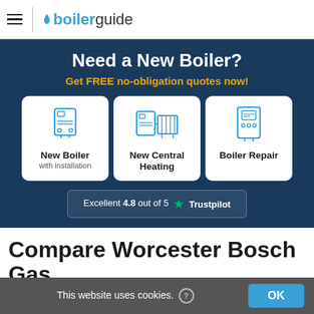boilerguide
Need a New Boiler?
Get FREE no-obligation quotes now!
[Figure (illustration): Three white cards with boiler icons: 'New Boiler with installation', 'New Central Heating', 'Boiler Repair']
Excellent 4.8 out of 5 ★ Trustpilot
Compare Worcester Bosch Gas Combi Boilers
This website uses cookies. ? OK